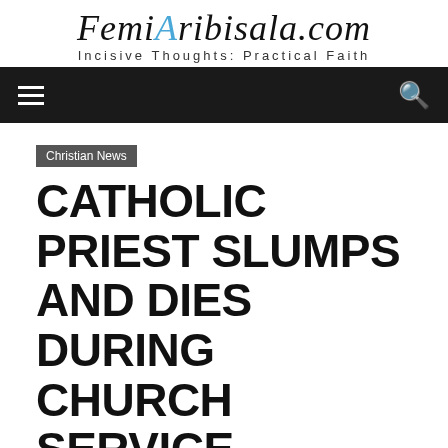FemiAribisala.com — Incisive Thoughts: Practical Faith
Christian News
CATHOLIC PRIEST SLUMPS AND DIES DURING CHURCH SERVICE
By Femi Aribisala – May 1, 2016